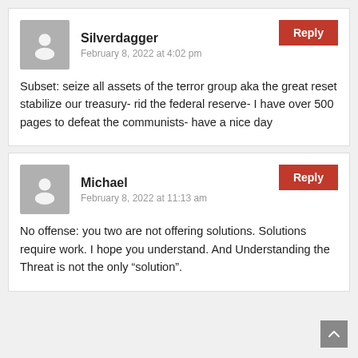Silverdagger
February 8, 2022 at 4:02 pm
Subset: seize all assets of the terror group aka the great reset stabilize our treasury- rid the federal reserve- I have over 500 pages to defeat the communists- have a nice day
Michael
February 8, 2022 at 11:13 am
No offense: you two are not offering solutions. Solutions require work. I hope you understand. And Understanding the Threat is not the only “solution”.